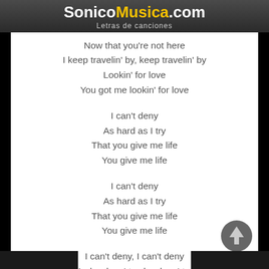SonicoMusica.com — Letras de canciones
Now that you're not here
I keep travelin' by, keep travelin' by
Lookin' for love
You got me lookin' for love
I can't deny
As hard as I try
That you give me life
You give me life
I can't deny
As hard as I try
That you give me life
You give me life
I can't deny, I can't deny
As hard as I try, hard as I try